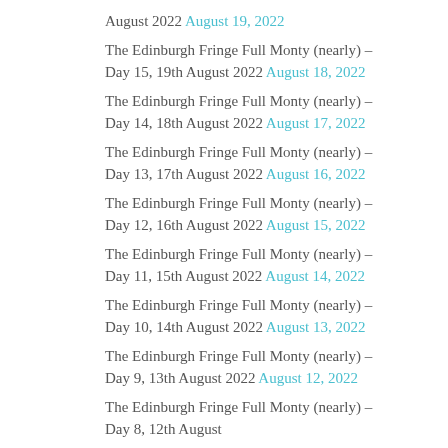August 2022 August 19, 2022
The Edinburgh Fringe Full Monty (nearly) – Day 15, 19th August 2022 August 18, 2022
The Edinburgh Fringe Full Monty (nearly) – Day 14, 18th August 2022 August 17, 2022
The Edinburgh Fringe Full Monty (nearly) – Day 13, 17th August 2022 August 16, 2022
The Edinburgh Fringe Full Monty (nearly) – Day 12, 16th August 2022 August 15, 2022
The Edinburgh Fringe Full Monty (nearly) – Day 11, 15th August 2022 August 14, 2022
The Edinburgh Fringe Full Monty (nearly) – Day 10, 14th August 2022 August 13, 2022
The Edinburgh Fringe Full Monty (nearly) – Day 9, 13th August 2022 August 12, 2022
The Edinburgh Fringe Full Monty (nearly) – Day 8, 12th August